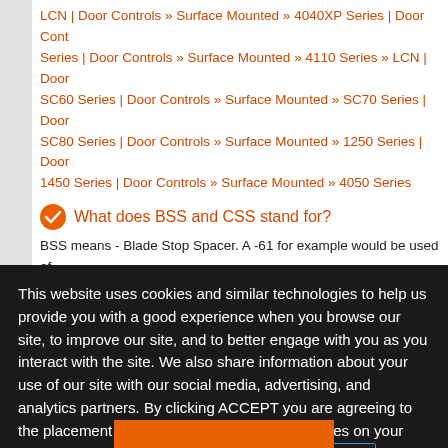LCN | Door Controls » Surface Mounted » 4040XP Series | Door Controls Series | Door Controls » Surface Mounted » 4110 Series » LCN | Door SC60 Series | Door Controls » Surface Mounted » SC70 Series | Door SC80 Series | Door Controls » Surface Mounted » 1250 Series | Door 1450 Series | Door Controls » Surface Mounted » 4050 Series
What does BSS and CSS stand for?
BSS means - Blade Stop Spacer. A -61 for example would be used af used. CSS means - Cush Shoe Support. A -30 for example would be u
Automatic Operators » Pneumatics » 4840 Series » LCN | Door Controls » LCN | Door Controls » Surface Mounted » 1460 Series » LCN | Door 4020 Series » LCN | Door Controls » Surface Mounted » 4040 Series
This website uses cookies and similar technologies to help us provide you with a good experience when you browse our site, to improve our site, and to better engage with you as you interact with the site. We also share information about your use of our site with our social media, advertising, and analytics partners. By clicking ACCEPT you are agreeing to the placement of cookies and similar technologies on your computer by us and our third-party partners. Allegion Cookie Policy